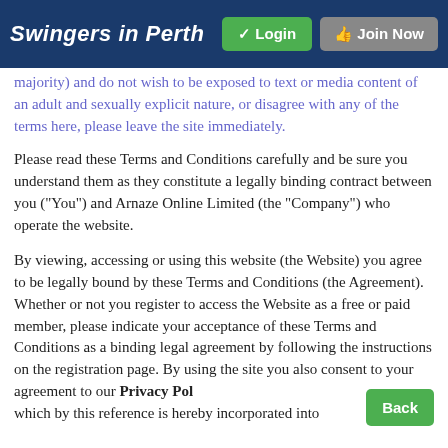Swingers in Perth | Login | Join Now
majority) and do not wish to be exposed to text or media content of an adult and sexually explicit nature, or disagree with any of the terms here, please leave the site immediately.
Please read these Terms and Conditions carefully and be sure you understand them as they constitute a legally binding contract between you ("You") and Arnaze Online Limited (the "Company") who operate the website.
By viewing, accessing or using this website (the Website) you agree to be legally bound by these Terms and Conditions (the Agreement). Whether or not you register to access the Website as a free or paid member, please indicate your acceptance of these Terms and Conditions as a binding legal agreement by following the instructions on the registration page. By using the site you also consent to your agreement to our Privacy Pol which by this reference is hereby incorporated into